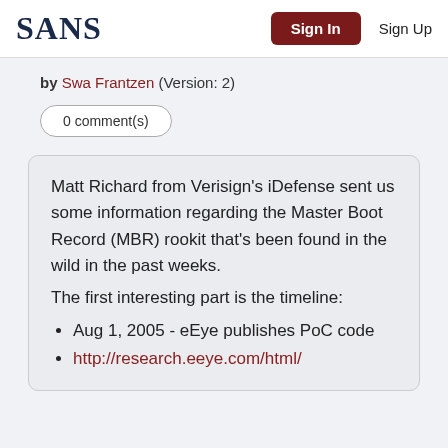SANS | Sign In | Sign Up
by Swa Frantzen (Version: 2)
0 comment(s)
Matt Richard from Verisign's iDefense sent us some information regarding the Master Boot Record (MBR) rookit that's been found in the wild in the past weeks.
The first interesting part is the timeline:
Aug 1, 2005 - eEye publishes PoC code
http://research.eeye.com/html/